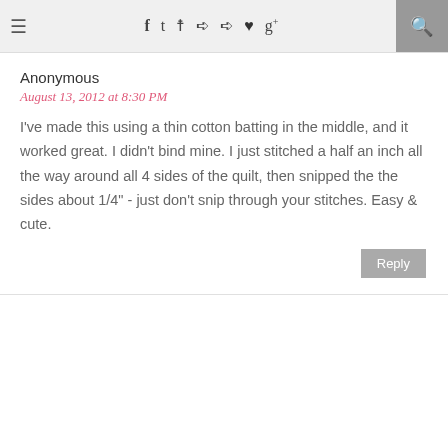≡ f t [instagram] [pinterest] [pinterest] ♥ g+ [search]
Anonymous
August 13, 2012 at 8:30 PM
I've made this using a thin cotton batting in the middle, and it worked great. I didn't bind mine. I just stitched a half an inch all the way around all 4 sides of the quilt, then snipped the the sides about 1/4" - just don't snip through your stitches. Easy & cute.
Reply